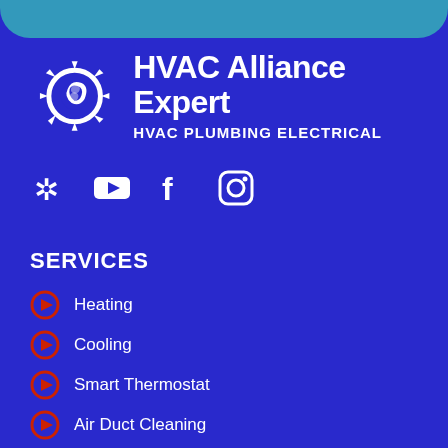[Figure (logo): HVAC Alliance Expert logo with gear and leaf icon, company name and tagline HVAC PLUMBING ELECTRICAL]
[Figure (infographic): Social media icons: Yelp, YouTube, Facebook, Instagram]
SERVICES
Heating
Cooling
Smart Thermostat
Air Duct Cleaning
Energy Efficiency
Commercial